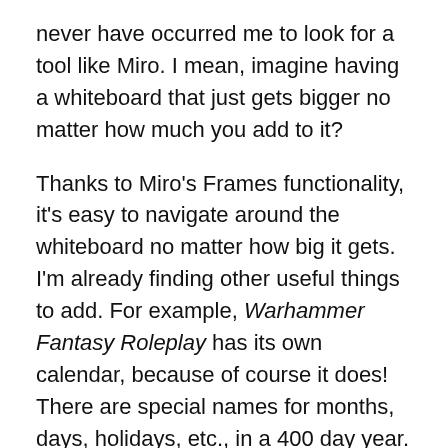never have occurred me to look for a tool like Miro. I mean, imagine having a whiteboard that just gets bigger no matter how much you add to it?
Thanks to Miro's Frames functionality, it's easy to navigate around the whiteboard no matter how big it gets. I'm already finding other useful things to add. For example, Warhammer Fantasy Roleplay has its own calendar, because of course it does! There are special names for months, days, holidays, etc., in a 400 day year. Now that calendar is on our Miro board, with a translucent block sitting over the current day. If you want to know, the campaign starts on Festag, the 24th of Jahrdrung.
One of the coolest things about Miro is that each